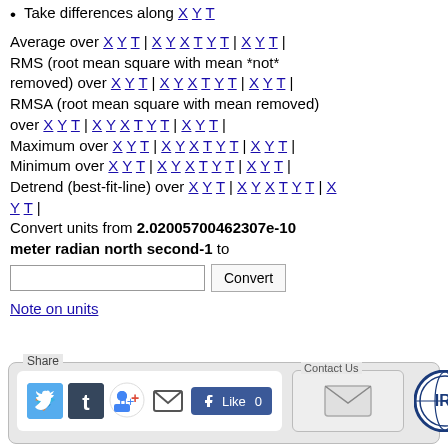Take differences along X Y T
Average over X Y T | X Y X T Y T | X Y T | RMS (root mean square with mean *not* removed) over X Y T | X Y X T Y T | X Y T | RMSA (root mean square with mean removed) over X Y T | X Y X T Y T | X Y T | Maximum over X Y T | X Y X T Y T | X Y T | Minimum over X Y T | X Y X T Y T | X Y T | Detrend (best-fit-line) over X Y T | X Y X T Y T | X Y T | Convert units from 2.02005700462307e-10 meter radian north second-1 to [input] Convert
Note on units